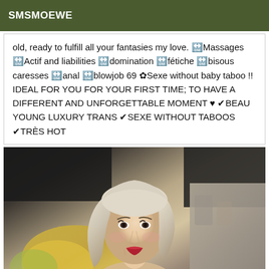SMSMOEWE
old, ready to fulfill all your fantasies my love. 🔛Massages 🔛Actif and liabilities 🔛domination 🔛fétiche 🔛bisous caresses 🔛anal 🔛blowjob 69 ✿Sexe without baby taboo !! IDEAL FOR YOU FOR YOUR FIRST TIME; TO HAVE A DIFFERENT AND UNFORGETTABLE MOMENT ♥ ✔BEAU YOUNG LUXURY TRANS ✔SEXE WITHOUT TABOOS ✔TRÈS HOT
[Figure (photo): Photo of a young blonde woman smiling, seated, with a colorful background]